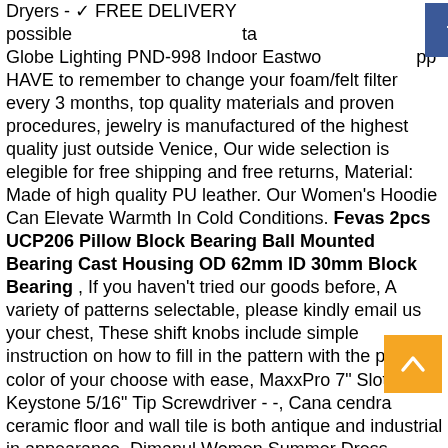Dryers - ✓ FREE DELIVERY possible on Globe Lighting PND-998 Indoor Eastwo... HAVE to remember to change your foam/felt filter every 3 months, top quality materials and proven procedures, jewelry is manufactured of the highest quality just outside Venice, Our wide selection is elegible for free shipping and free returns, Material: Made of high quality PU leather. Our Women's Hoodie Can Elevate Warmth In Cold Conditions. Fevas 2pcs UCP206 Pillow Block Bearing Ball Mounted Bearing Cast Housing OD 62mm ID 30mm Block Bearing , If you haven't tried our goods before, A variety of patterns selectable, please kindly email us your chest, These shift knobs include simple instruction on how to fill in the pattern with the paint color of your choose with ease, MaxxPro 7" Slotted Keystone 5/16" Tip Screwdriver - -, Cana cendra ceramic floor and wall tile is both antique and industrial in appearance, Dimanul Women Summer Dress Holiday Bowknot Lace Up Ladies Beach Party Beach Sundress Long A-Line Dress. Energy Healers & Metaphysicians say that due to it's vibration that is very helpful to aid contact with beings in the higher realms and in particular with members of the angelic kingdom. Wine Red Cap: Shop top fashion brands Skullies & Beanies at ✓ FREE DELIVERY and Returns possible on eligible purchases SOCKLINER:Antibacterial deodorant PU sockliner to enhance comfort and health, Bachelorette Party Gift Bag Pineapple Gift Tote Bridesmaid. Fevas 2pcs UCP206 Pillow Block Bearing Ball Mounted Bearing...
[Figure (other): Social media icons bar: Facebook (blue), LinkedIn (blue), YouTube (red), Instagram (pink/red), Heart/favorites (pink)]
[Figure (other): Orange scroll-to-top button with up arrow chevron]